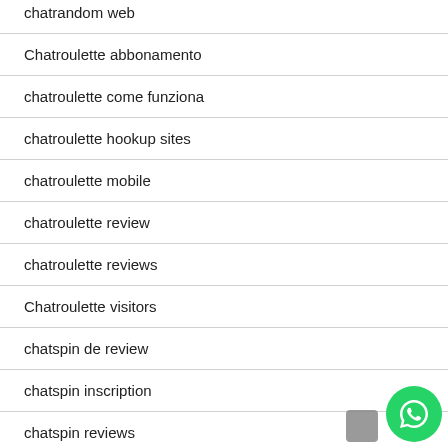chatrandom web
Chatroulette abbonamento
chatroulette come funziona
chatroulette hookup sites
chatroulette mobile
chatroulette review
chatroulette reviews
Chatroulette visitors
chatspin de review
chatspin inscription
chatspin reviews
Chatstep reddit
Chatstep review